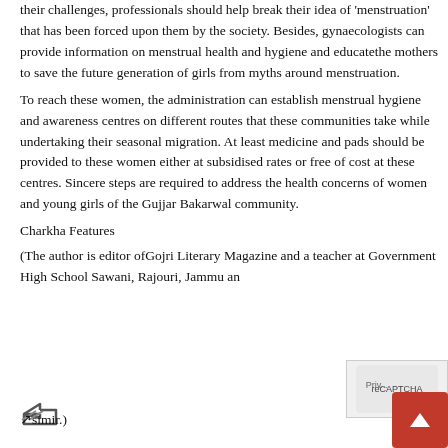their challenges, professionals should help break their idea of 'menstruation' that has been forced upon them by the society. Besides, gynaecologists can provide information on menstrual health and hygiene and educatethe mothers to save the future generation of girls from myths around menstruation.
To reach these women, the administration can establish menstrual hygiene and awareness centres on different routes that these communities take while undertaking their seasonal migration. At least medicine and pads should be provided to these women either at subsidised rates or free of cost at these centres. Sincere steps are required to address the health concerns of women and young girls of the Gujjar Bakarwal community.
Charkha Features
(The author is editor ofGojri Literary Magazine and a teacher at Government High School Sawani, Rajouri, Jammu and Kashmir.)